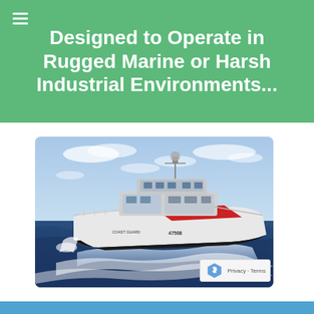Designed to Operate in Rugged Marine or Harsh Industrial Environments...
[Figure (photo): A U.S. Coast Guard patrol boat speeding across open ocean water, with white hull bearing the distinctive diagonal red stripe and Coast Guard markings, photographed from a slight angle showing the bow rising from the water.]
Privacy · Terms